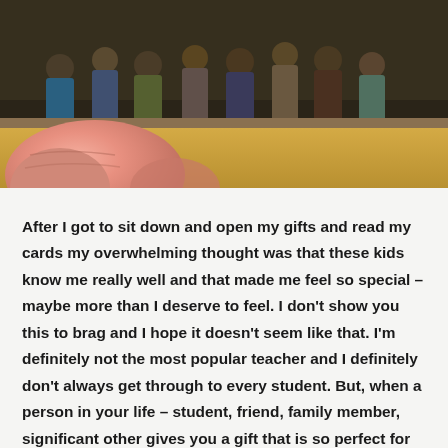[Figure (photo): Group photo of students and a teacher with hands placed on a surface, partially obscured by a close-up of fingers in the foreground. Golden/amber colored surface visible.]
After I got to sit down and open my gifts and read my cards my overwhelming thought was that these kids know me really well and that made me feel so special – maybe more than I deserve to feel.  I don't show you this to brag and I hope it doesn't seem like that.  I'm definitely not the most popular teacher and I definitely don't always get through to every student.  But, when a person in your life – student, friend, family member, significant other gives you a gift that is so perfect for